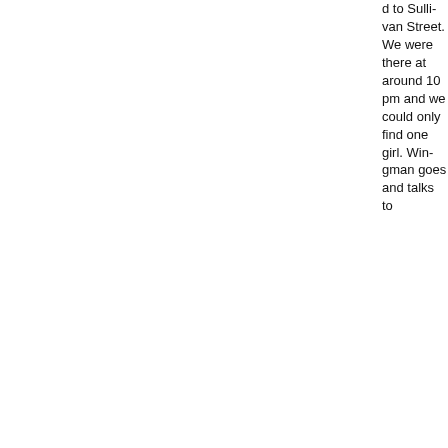d to Sullivan Street. We were there at around 10 pm and we could only find one girl. Wingman goes and talks to